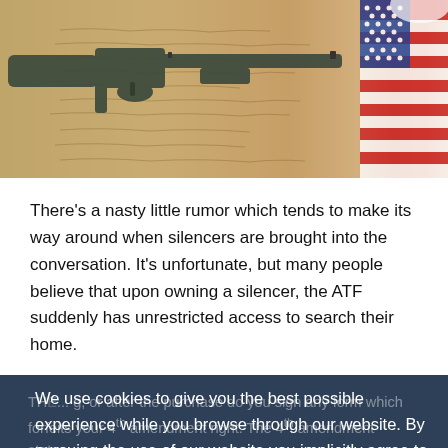[Figure (photo): Photograph of a shotgun/rifle resting on aged handwritten documents with an American flag in the background]
There’s a nasty little rumor which tends to make its way around when silencers are brought into the conversation. It’s unfortunate, but many people believe that upon owning a silencer, the ATF suddenly has unrestricted access to search their home.
THE ... g, or after the purchase do you sign any form which forfeits your 4th amendment right. The 4th amendment states:
“The right of the people to be secure in their persons, ho... papers, and effects,
We use cookies to give you the best possible experience while you browse through our website. By pursuing the use of our website you implicitly agree to the usage of cookies on this site.
Got it!